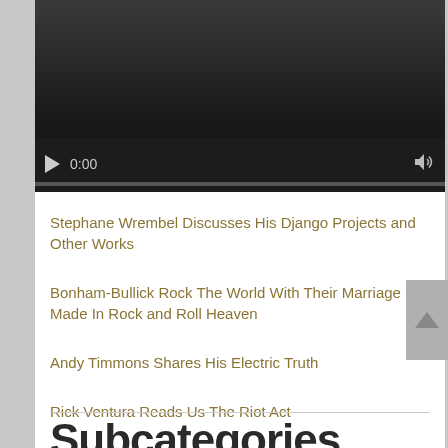[Figure (screenshot): Embedded video player with dark background, play button, 0:00 time display, volume icon, and progress bar]
Stephane Wrembel Discusses His Django Projects and Other Works
Bonham-Bullick Rock The World With Their Marriage Made In Rock and Roll Heaven
Andy Timmons Shares His Electric Truth
Rick Ventura Reads Us The Riot Act
Subcategories